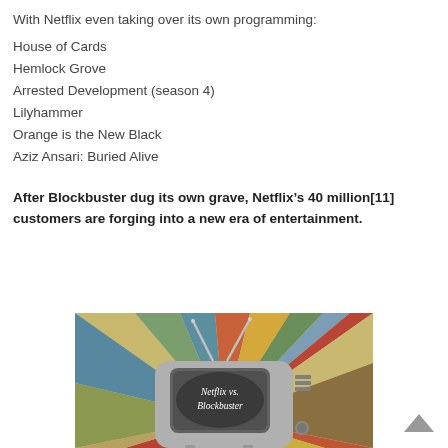With Netflix even taking over its own programming:
House of Cards
Hemlock Grove
Arrested Development (season 4)
Lilyhammer
Orange is the New Black
Aziz Ansari: Buried Alive
After Blockbuster dug its own grave, Netflix’s 40 million[11] customers are forging into a new era of entertainment.
[Figure (illustration): Retro-style colorful illustration of an old television set with antenna, displaying 'Netflix vs. Blockbuster' text on the screen, with rainbow sunburst rays emanating behind it]